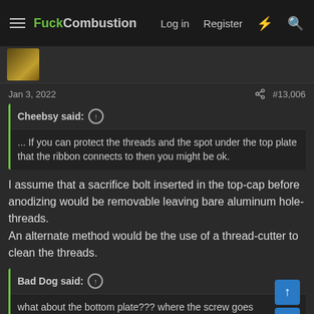FuckCombustion — Log in  Register
[Figure (photo): User avatar image partially visible]
Jan 3, 2022  #13,006
Cheebsy said: ↑ ... If you can protect the threads and the spot under the top plate that the ribbon connects to then you might be ok.
I assume that a sacrifice bolt inserted in the top-cap before anodizing would be removable leaving bare aluminum hole-threads.
An alternate method would be the use of a thread-cutter to clean the threads.
Bad Dog said: ↑ what about the bottom plate??? where the screw goes and the ridge the PCB touches???